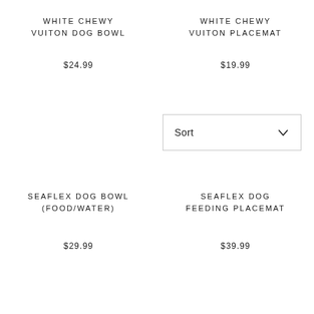WHITE CHEWY VUITON DOG BOWL
$24.99
WHITE CHEWY VUITON PLACEMAT
$19.99
[Figure (other): Sort dropdown UI element with chevron]
SEAFLEX DOG BOWL (FOOD/WATER)
$29.99
SEAFLEX DOG FEEDING PLACEMAT
$39.99